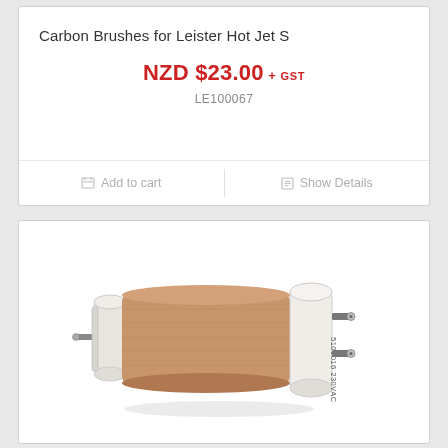Carbon Brushes for Leister Hot Jet S
NZD $23.00 + GST
LE100067
Add to cart
Show Details
[Figure (photo): A cylindrical electric motor component wrapped in brown/tan insulation material with white ceramic end caps and metal terminals/connectors on both ends. Label reads '5100016 230VAC'.]